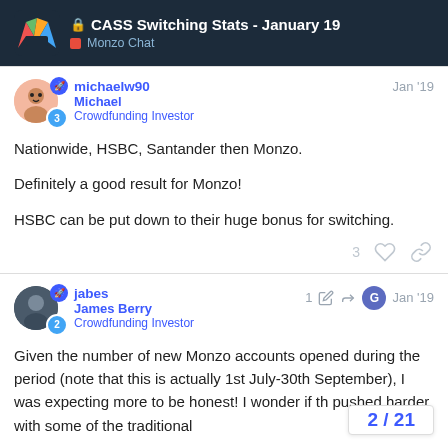CASS Switching Stats - January 19 | Monzo Chat
michaelw90
Michael
Crowdfunding Investor
Jan '19
Nationwide, HSBC, Santander then Monzo.

Definitely a good result for Monzo!

HSBC can be put down to their huge bonus for switching.
jabes
James Berry
Crowdfunding Investor
1 Jan '19
Given the number of new Monzo accounts opened during the period (note that this is actually 1st July-30th September), I was expecting more to be honest! I wonder if th pushed harder with some of the traditional